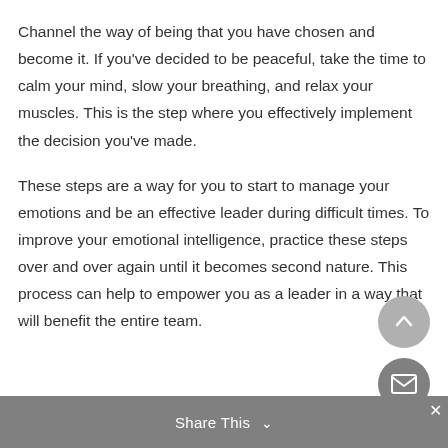Channel the way of being that you have chosen and become it. If you've decided to be peaceful, take the time to calm your mind, slow your breathing, and relax your muscles. This is the step where you effectively implement the decision you've made.
These steps are a way for you to start to manage your emotions and be an effective leader during difficult times. To improve your emotional intelligence, practice these steps over and over again until it becomes second nature. This process can help to empower you as a leader in a way that will benefit the entire team.
Share This ∨